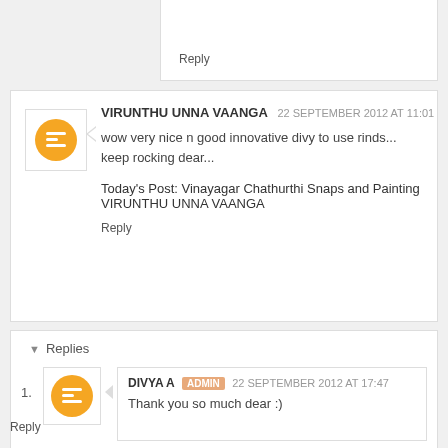Reply
VIRUNTHU UNNA VAANGA   22 SEPTEMBER 2012 AT 11:01
wow very nice n good innovative divy to use rinds... keep rocking dear...
Today's Post: Vinayagar Chathurthi Snaps and Painting
VIRUNTHU UNNA VAANGA
Reply
Replies
DIVYA A  ADMIN  22 SEPTEMBER 2012 AT 17:47
Thank you so much dear :)
Reply